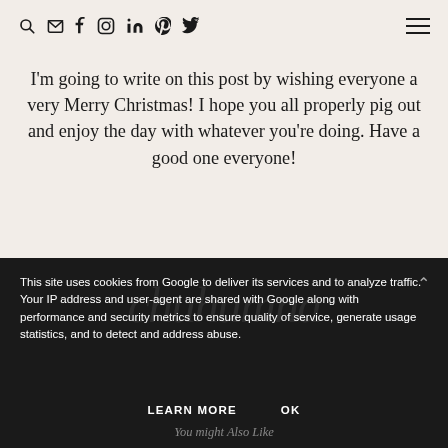Search, Email, Facebook, Instagram, LinkedIn, Pinterest, Twitter, Menu icons
I'm going to write on this post by wishing everyone a very Merry Christmas! I hope you all properly pig out and enjoy the day with whatever you're doing. Have a good one everyone!
Lucy ♥
This site uses cookies from Google to deliver its services and to analyze traffic. Your IP address and user-agent are shared with Google along with performance and security metrics to ensure quality of service, generate usage statistics, and to detect and address abuse.
LEARN MORE   OK
You might Also Like